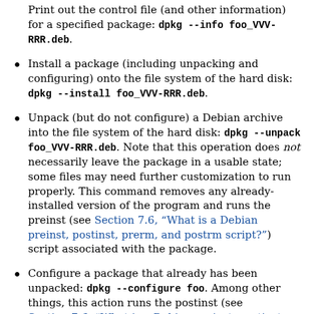Print out the control file (and other information) for a specified package: dpkg --info foo_VVV-RRR.deb.
Install a package (including unpacking and configuring) onto the file system of the hard disk: dpkg --install foo_VVV-RRR.deb.
Unpack (but do not configure) a Debian archive into the file system of the hard disk: dpkg --unpack foo_VVV-RRR.deb. Note that this operation does not necessarily leave the package in a usable state; some files may need further customization to run properly. This command removes any already-installed version of the program and runs the preinst (see Section 7.6, "What is a Debian preinst, postinst, prerm, and postrm script?") script associated with the package.
Configure a package that already has been unpacked: dpkg --configure foo. Among other things, this action runs the postinst (see Section 7.6, "What is a Debian preinst, postinst,"